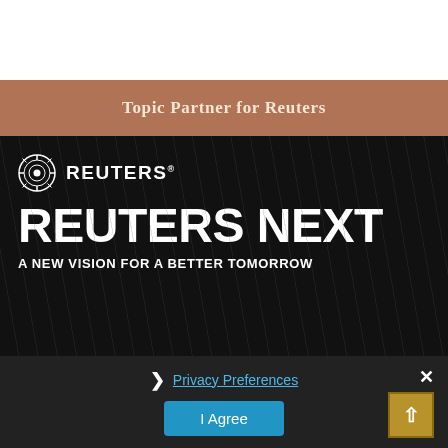Topic Partner for Reuters
[Figure (screenshot): Reuters Next promotional banner on dark background showing Reuters logo, 'REUTERS NEXT' headline, and 'A NEW VISION FOR A BETTER TOMORROW' subtitle with a dark atmospheric image background]
[Figure (screenshot): Cookie consent bar on dark background with close X button, Privacy Preferences link with chevron, I Agree button in blue, and scroll-to-top arrow button in gold/brown]